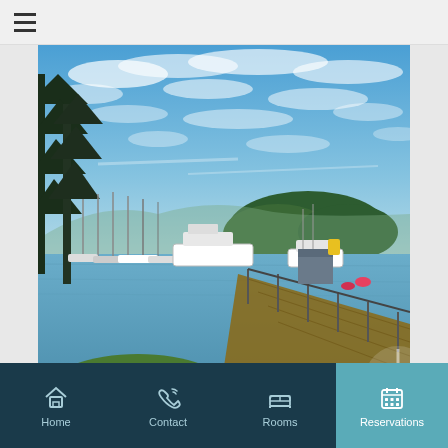[Figure (screenshot): Mobile website UI with hamburger menu at top left]
[Figure (photo): Scenic marina with boats docked at wooden pier, blue sky with scattered clouds, forested island in background, tall trees framing left side]
Home  Contact  Rooms  Reservations